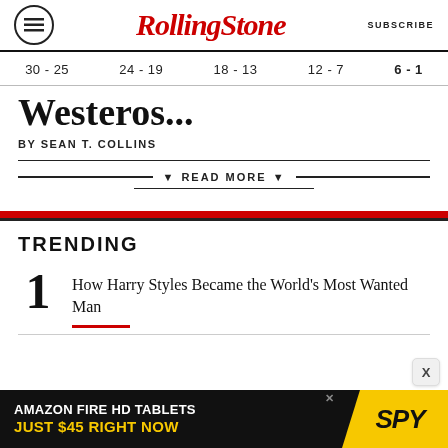Rolling Stone | SUBSCRIBE
30 - 25  24 - 19  18 - 13  12 - 7  6 - 1
Westeros...
BY SEAN T. COLLINS
▼ READ MORE ▼
TRENDING
1 How Harry Styles Became the World's Most Wanted Man
[Figure (other): Amazon Fire HD Tablets advertisement banner: AMAZON FIRE HD TABLETS JUST $45 RIGHT NOW / SPY logo on yellow background]